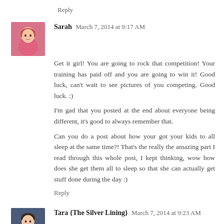Reply
Sarah  March 7, 2014 at 9:17 AM
Get it girl! You are going to rock that competition! Your training has paid off and you are going to win it! Good luck, can't wait to see pictures of you competing. Good luck. :)
I'm gad that you posted at the end about everyone being different, it's good to always remember that.
Can you do a post about how your got your kids to all sleep at the same time?! That's the really the amazing part I read through this whole post, I kept thinking, wow how does she get them all to sleep so that she can actually get stuff done during the day :)
Reply
Tara {The Silver Lining}  March 7, 2014 at 9:23 AM
You look incredible! Way to go!!